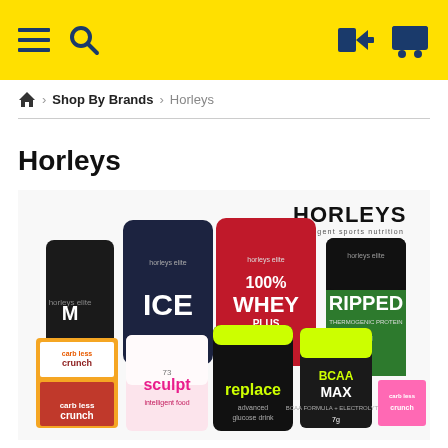Navigation bar with menu, search, login, and cart icons
Home > Shop By Brands > Horleys
Horleys
[Figure (photo): Horleys sports nutrition product range including ICE, 100% WHEY, RIPPED, BCAA MAX, replace, sculpt, carb less crunch bars and other products arranged together with the HORLEYS intelligent sports nutrition logo in the top right corner.]